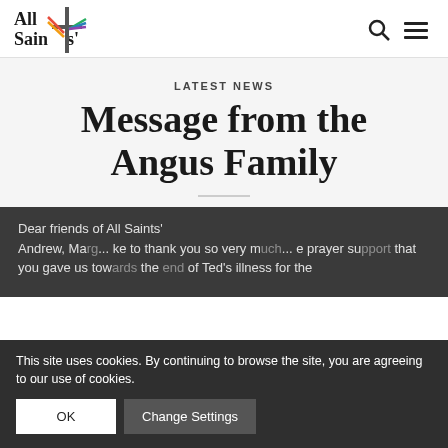All Saints'
LATEST NEWS
Message from the Angus Family
Dear friends of All Saints'
Andrew, Ma... ke to thank you so very m... e prayer su... that you gave us tow... the ... of Ted's illness for the
This site uses cookies. By continuing to browse the site, you are agreeing to our use of cookies.